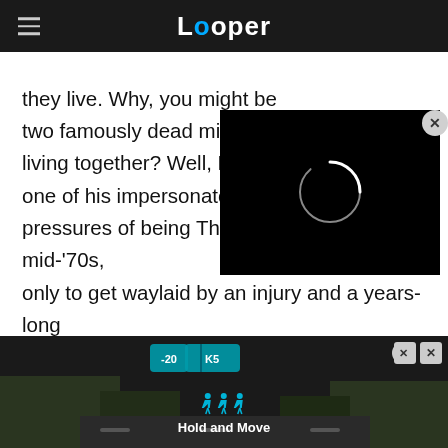Looper
they live. Why, you might be two famously dead midcent living together? Well, Elvis s one of his impersonators in pressures of being The King back in the mid-'70s, only to get waylaid by an injury and a years-long coma. Kennedy, meanwhile, survived his 1963 assassination attempt but was hidden away in a power grab by Lyndon Johnson — and the CIA
[Figure (screenshot): Video player overlay with black background and loading spinner, with close button]
[Figure (screenshot): Bottom advertisement bar showing outdoor scene with 'Hold and Move' label and navigation icons]